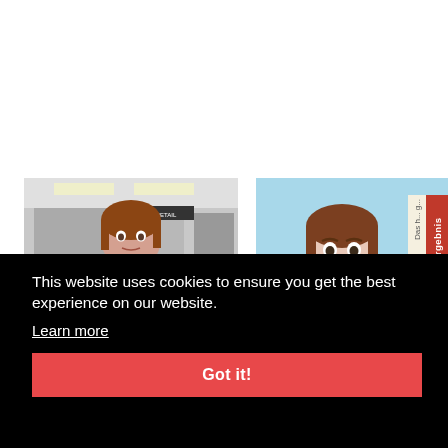[Figure (screenshot): Left image: a woman with brown hair in an office/security setting, realistic photo style]
[Figure (screenshot): Right image: animated/cartoon woman with brown hair wearing red, on a light blue background with German text labels 'Ergebnis' and 'Das h... g...' visible as vertical text on right side, and a score '0' with label 'Richo']
[Figure (screenshot): Bottom left: blue bar image]
[Figure (screenshot): Bottom right: text reading 'button to validate your choice.']
This website uses cookies to ensure you get the best experience on our website.
Learn more
Got it!